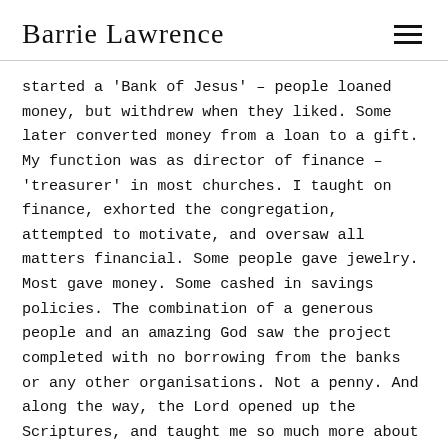Barrie Lawrence
started a 'Bank of Jesus' – people loaned money, but withdrew when they liked. Some later converted money from a loan to a gift. My function was as director of finance – 'treasurer' in most churches. I taught on finance, exhorted the congregation, attempted to motivate, and oversaw all matters financial. Some people gave jewelry. Most gave money. Some cashed in savings policies. The combination of a generous people and an amazing God saw the project completed with no borrowing from the banks or any other organisations. Not a penny. And along the way, the Lord opened up the Scriptures, and taught me so much more about finance.